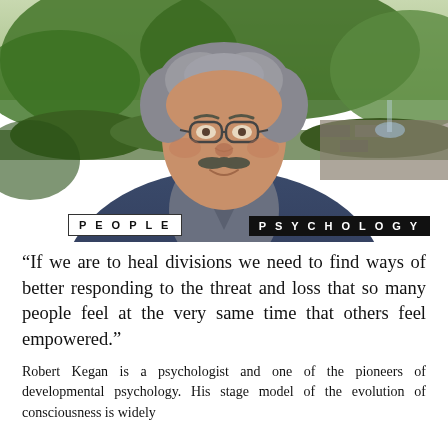[Figure (photo): Portrait photo of Robert Kegan, a man with curly grey hair, glasses, and a moustache, wearing a dark blue blazer over a grey shirt. He is smiling, photographed outdoors in front of green trees and a stone wall with a fountain visible in the background.]
PEOPLE | PSYCHOLOGY
“If we are to heal divisions we need to find ways of better responding to the threat and loss that so many people feel at the very same time that others feel empowered.”
Robert Kegan is a psychologist and one of the pioneers of developmental psychology. His stage model of the evolution of consciousness is widely